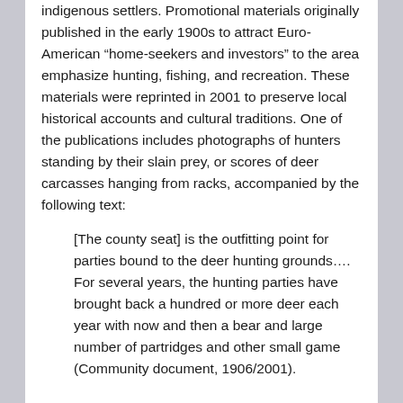indigenous settlers. Promotional materials originally published in the early 1900s to attract Euro-American “home-seekers and investors” to the area emphasize hunting, fishing, and recreation. These materials were reprinted in 2001 to preserve local historical accounts and cultural traditions. One of the publications includes photographs of hunters standing by their slain prey, or scores of deer carcasses hanging from racks, accompanied by the following text:
[The county seat] is the outfitting point for parties bound to the deer hunting grounds…. For several years, the hunting parties have brought back a hundred or more deer each year with now and then a bear and large number of partridges and other small game (Community document, 1906/2001).